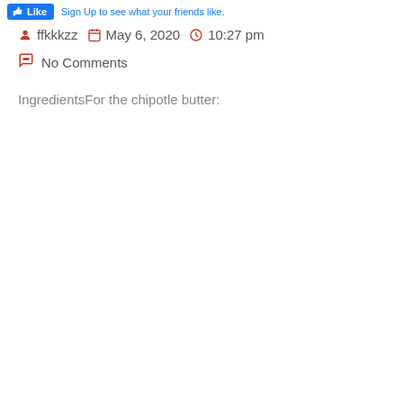Like  Sign Up to see what your friends like.
ffkkkzz  May 6, 2020  10:27 pm
No Comments
IngredientsFor the chipotle butter: